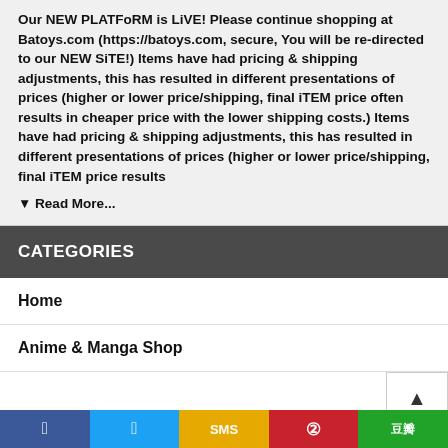Our NEW PLATFoRM is LiVE! Please continue shopping at Batoys.com (https://batoys.com, secure, You will be re-directed to our NEW SiTE!) Items have had pricing & shipping adjustments, this has resulted in different presentations of prices (higher or lower price/shipping, final iTEM price often results in cheaper price with the lower shipping costs.) Items have had pricing & shipping adjustments, this has resulted in different presentations of prices (higher or lower price/shipping, final iTEM price results
▼ Read More...
CATEGORIES
Home
Anime & Manga Shop